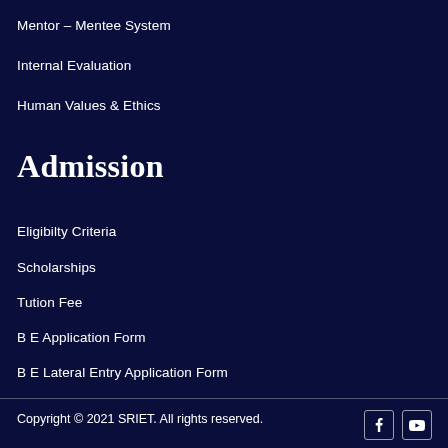Mentor – Mentee System
Internal Evaluation
Human Values & Ethics
Admission
Eligibilty Criteria
Scholarships
Tution Fee
B E Application Form
B E Lateral Entry Application Form
Copyright © 2021 SRIET. All rights reserved.